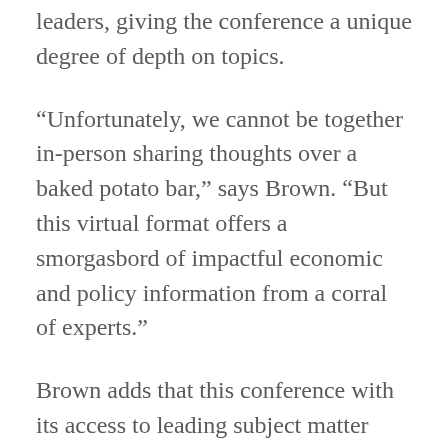leaders, giving the conference a unique degree of depth on topics.
“Unfortunately, we cannot be together in-person sharing thoughts over a baked potato bar,” says Brown. “But this virtual format offers a smorgasbord of impactful economic and policy information from a corral of experts.”
Brown adds that this conference with its access to leading subject matter experts within Ohio and across the country, is walking the walk of being a modern land grant institution.